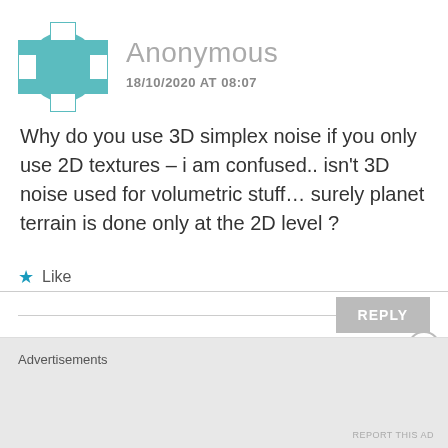[Figure (illustration): Teal/green decorative avatar icon with geometric cross and star pattern]
Anonymous
18/10/2020 AT 08:07
Why do you use 3D simplex noise if you only use 2D textures – i am confused.. isn't 3D noise used for volumetric stuff… surely planet terrain is done only at the 2D level ?
★ Like
REPLY
Advertisements